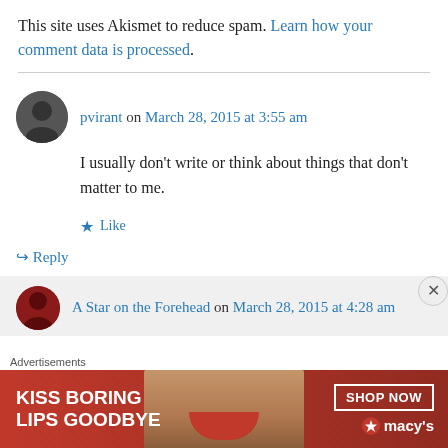This site uses Akismet to reduce spam. Learn how your comment data is processed.
pvirant on March 28, 2015 at 3:55 am
I usually don't write or think about things that don't matter to me.
Like
Reply
A Star on the Forehead on March 28, 2015 at 4:28 am
Advertisements
[Figure (photo): Macy's advertisement banner: KISS BORING LIPS GOODBYE with a SHOP NOW button and Macy's logo]